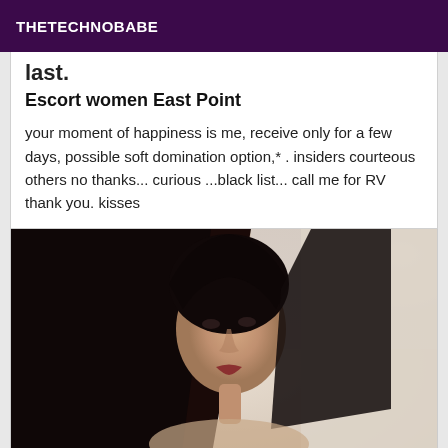THETECHNOBABE
last.
Escort women East Point
your moment of happiness is me, receive only for a few days, possible soft domination option,* . insiders courteous others no thanks... curious ...black list... call me for RV thank you. kisses
[Figure (photo): Portrait photo of a woman with long dark hair against a light background]